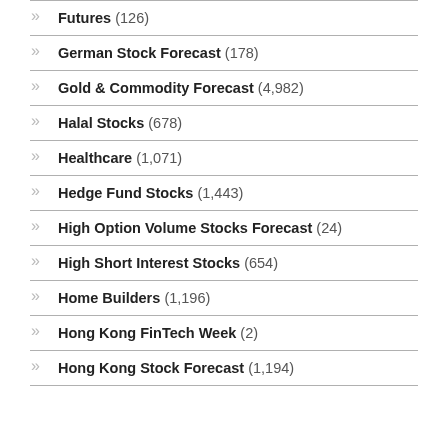Futures (126)
German Stock Forecast (178)
Gold & Commodity Forecast (4,982)
Halal Stocks (678)
Healthcare (1,071)
Hedge Fund Stocks (1,443)
High Option Volume Stocks Forecast (24)
High Short Interest Stocks (654)
Home Builders (1,196)
Hong Kong FinTech Week (2)
Hong Kong Stock Forecast (1,194)